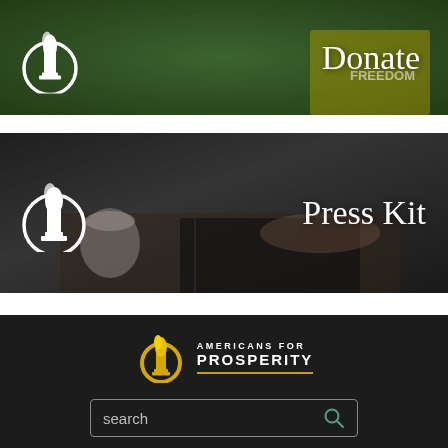[Figure (photo): Banner with crowd of people in green shirts, torch logo on left, 'Donate' text on right]
[Figure (photo): Banner with person working at desk/laptop with coffee cup, torch logo on left, 'Press Kit' text on right]
[Figure (logo): Americans for Prosperity logo with yellow torch icon and text 'AMERICANS FOR PROSPERITY' with yellow underline]
search
ABOUT   PRIVACY POLICY   TERMS OF